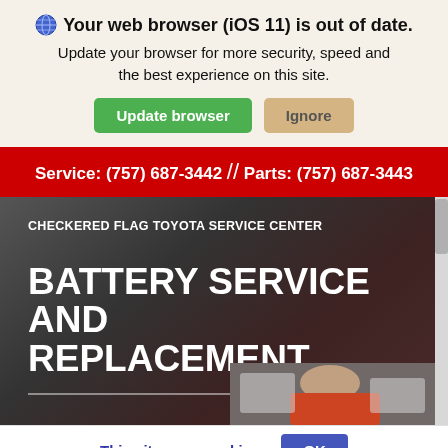Your web browser (iOS 11) is out of date. Update your browser for more security, speed and the best experience on this site.
Update browser | Ignore
Service: (757) 687-3442 // Parts: (757) 687-3443
CHECKERED FLAG TOYOTA SERVICE CENTER
BATTERY SERVICE AND REPLACEMENT
[Figure (photo): Person working on a car engine/battery under the hood, photographed from above]
This site uses cookies.
OK